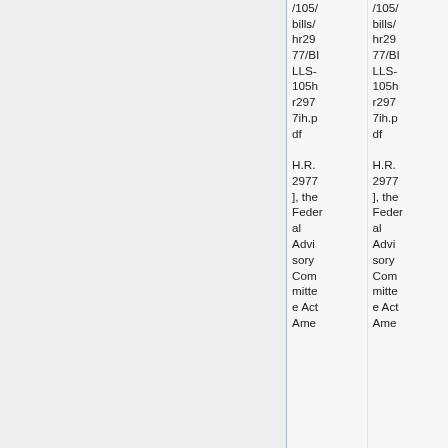| /105/
bills/
hr29
77/BI
LLS-
105h
r297
7ih.p
df
H.R.
2977
], the
Feder
al
Advi
sory
Com
mitte
e Act
Ame | /105/
bills/
hr29
77/BI
LLS-
105h
r297
7ih.p
df
H.R.
2977
], the
Feder
al
Advi
sory
Com
mitte
e Act
Ame |